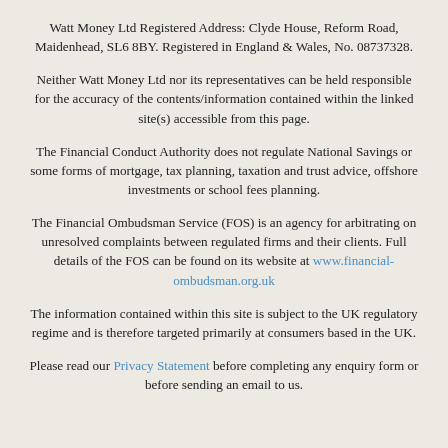Watt Money Ltd Registered Address: Clyde House, Reform Road, Maidenhead, SL6 8BY. Registered in England & Wales, No. 08737328.
Neither Watt Money Ltd nor its representatives can be held responsible for the accuracy of the contents/information contained within the linked site(s) accessible from this page.
The Financial Conduct Authority does not regulate National Savings or some forms of mortgage, tax planning, taxation and trust advice, offshore investments or school fees planning.
The Financial Ombudsman Service (FOS) is an agency for arbitrating on unresolved complaints between regulated firms and their clients. Full details of the FOS can be found on its website at www.financial-ombudsman.org.uk
The information contained within this site is subject to the UK regulatory regime and is therefore targeted primarily at consumers based in the UK.
Please read our Privacy Statement before completing any enquiry form or before sending an email to us.